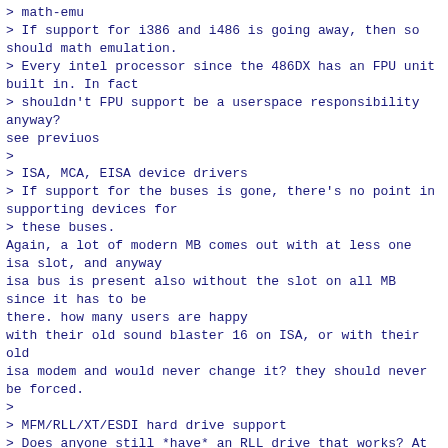> math-emu
> If support for i386 and i486 is going away, then so should math emulation.
> Every intel processor since the 486DX has an FPU unit built in. In fact
> shouldn't FPU support be a userspace responsibility anyway?
see previuos
>
> ISA, MCA, EISA device drivers
> If support for the buses is gone, there's no point in supporting devices for
> these buses.
Again, a lot of modern MB comes out with at less one isa slot, and anyway
isa bus is present also without the slot on all MB since it has to be
there. how many users are happy
with their old sound blaster 16 on ISA, or with their old
isa modem and would never change it? they should never be forced.
>
> MFM/RLL/XT/ESDI hard drive support
> Does anyone still *have* an RLL drive that works? At the very least get rid
> of the old driver (eg CONFIG_BLK_DEV_HD_ONLY, CONFIG_BLK_DEV_HD_IDE,
> CONFIG_BLK_DEV_XD, CONFIG_BLK_DEV_PS2)
see previous